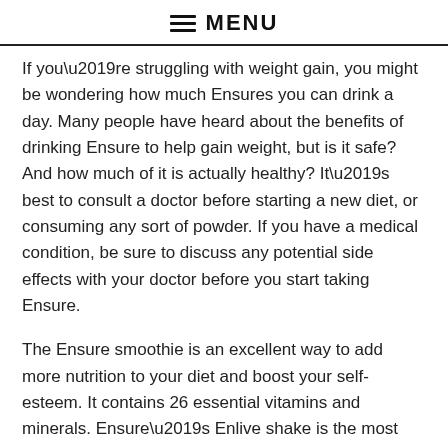MENU
If you’re struggling with weight gain, you might be wondering how much Ensures you can drink a day. Many people have heard about the benefits of drinking Ensure to help gain weight, but is it safe? And how much of it is actually healthy? It’s best to consult a doctor before starting a new diet, or consuming any sort of powder. If you have a medical condition, be sure to discuss any potential side effects with your doctor before you start taking Ensure.
The Ensure smoothie is an excellent way to add more nutrition to your diet and boost your self-esteem. It contains 26 essential vitamins and minerals. Ensure’s Enlive shake is the most nutrient-dense, with more than 450 calories per serving. Another option is to combine an 8-ounce serving of Ensure Plus with 1/2